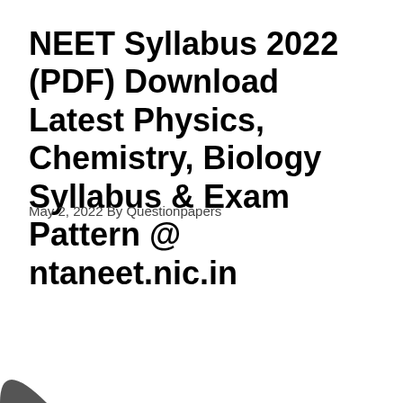NEET Syllabus 2022 (PDF) Download Latest Physics, Chemistry, Biology Syllabus & Exam Pattern @ ntaneet.nic.in
May 2, 2022 By Questionpapers